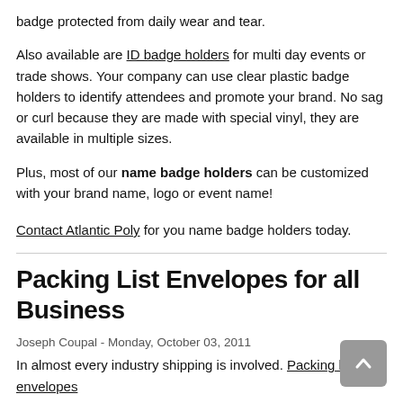badge protected from daily wear and tear.
Also available are ID badge holders for multi day events or trade shows. Your company can use clear plastic badge holders to identify attendees and promote your brand. No sag or curl because they are made with special vinyl, they are available in multiple sizes.
Plus, most of our name badge holders can be customized with your brand name, logo or event name!
Contact Atlantic Poly for you name badge holders today.
Packing List Envelopes for all Business
Joseph Coupal - Monday, October 03, 2011
In almost every industry shipping is involved. Packing list envelopes